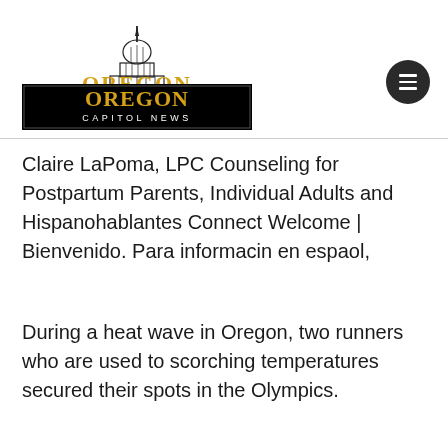[Figure (logo): Oregon Capitol News logo with capitol building illustration above a black rectangle containing 'OREGON' in gold serif letters and 'CAPITOL NEWS' in white spaced letters below]
Claire LaPoma, LPC Counseling for Postpartum Parents, Individual Adults and Hispanohablantes Connect Welcome | Bienvenido. Para informacin en espaol,
During a heat wave in Oregon, two runners who are used to scorching temperatures secured their spots in the Olympics.